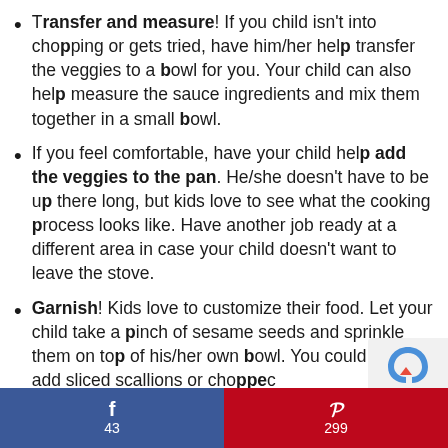Transfer and measure! If you child isn't into chopping or gets tried, have him/her help transfer the veggies to a bowl for you. Your child can also help measure the sauce ingredients and mix them together in a small bowl.
If you feel comfortable, have your child help add the veggies to the pan. He/she doesn't have to be up there long, but kids love to see what the cooking process looks like. Have another job ready at a different area in case your child doesn't want to leave the stove.
Garnish! Kids love to customize their food. Let your child take a pinch of sesame seeds and sprinkle them on top of his/her own bowl. You could also add sliced scallions or chopped...
f 43  |  P 299